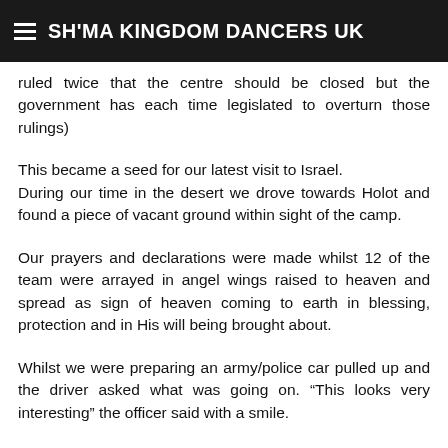SH'MA KINGDOM DANCERS UK
possibility that other countries will receive them. A few have been taken by Uganda. The high court in Israel have ruled twice that the centre should be closed but the government has each time legislated to overturn those rulings)
This became a seed for our latest visit to Israel.
During our time in the desert we drove towards Holot and found a piece of vacant ground within sight of the camp.
Our prayers and declarations were made whilst 12 of the team were arrayed in angel wings raised to heaven and spread as sign of heaven coming to earth in blessing, protection and in His will being brought about.
Whilst we were preparing an army/police car pulled up and the driver asked what was going on. “This looks very interesting” the officer said with a smile.